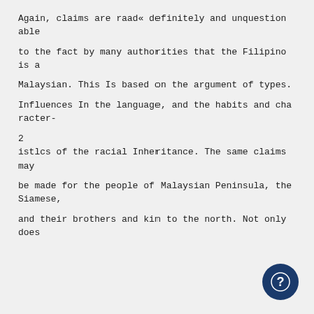Again, claims are raad« definitely and unquestionable
to the fact by many authorities that the Filipino is a
Malaysian. This Is based on the argument of types.
Influences In the language, and the habits and character-
2
istlcs of the racial Inheritance. The same claims may
be made for the people of Malaysian Peninsula, the Siamese,
and their brothers and kin to the north. Not only does